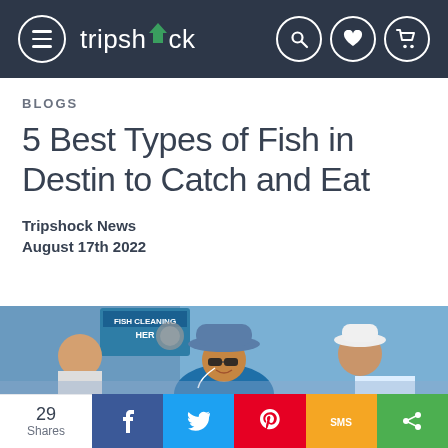tripshock navigation header with hamburger menu, search, heart, and cart icons
BLOGS
5 Best Types of Fish in Destin to Catch and Eat
Tripshock News
August 17th 2022
[Figure (photo): Outdoor photo of a man wearing a blue bucket hat and sunglasses smiling at camera. In the background is a fish cleaning station sign and other people. The setting appears to be a marina or fishing dock.]
29 Shares